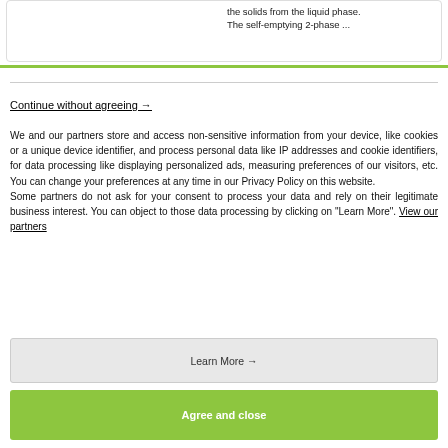the solids from the liquid phase. The self-emptying 2-phase ...
Continue without agreeing →
We and our partners store and access non-sensitive information from your device, like cookies or a unique device identifier, and process personal data like IP addresses and cookie identifiers, for data processing like displaying personalized ads, measuring preferences of our visitors, etc. You can change your preferences at any time in our Privacy Policy on this website.
Some partners do not ask for your consent to process your data and rely on their legitimate business interest. You can object to those data processing by clicking on "Learn More". View our partners
Learn More →
Agree and close